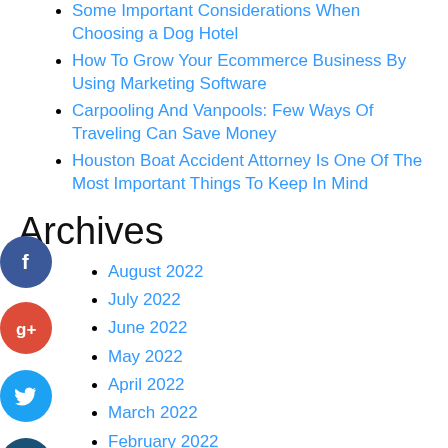Some Important Considerations When Choosing a Dog Hotel
How To Grow Your Ecommerce Business By Using Marketing Software
Carpooling And Vanpools: Few Ways Of Traveling Can Save Money
Houston Boat Accident Attorney Is One Of The Most Important Things To Keep In Mind
Archives
August 2022
July 2022
June 2022
May 2022
April 2022
March 2022
February 2022
January 2022
December 2021